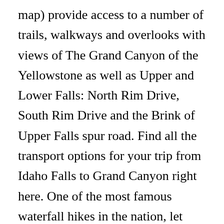map) provide access to a number of trails, walkways and overlooks with views of The Grand Canyon of the Yellowstone as well as Upper and Lower Falls: North Rim Drive, South Rim Drive and the Brink of Upper Falls spur road. Find all the transport options for your trip from Idaho Falls to Grand Canyon right here. One of the most famous waterfall hikes in the nation, let alone the Grand Canyon, the blue waters of Havasu Falls have been mesmerizing visitors and residents for eons. Check out Grand Canyon helicopter tours to see the canyon from a whole new perspective. If not rafting, backpacking is your only option to reach this amazing Grand Canyon waterfall. "Havasupai" itself means "people of the blue-